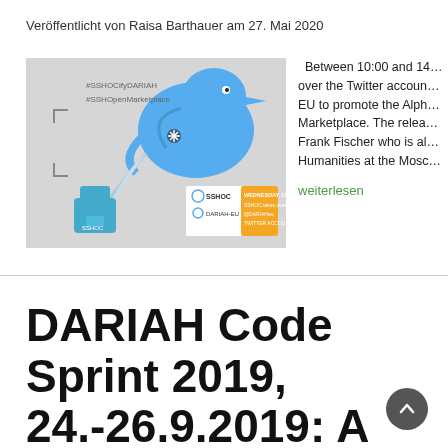Veröffentlicht von Raisa Barthauer am 27. Mai 2020
[Figure (illustration): SSHOC Twitter takeover promotional image showing a Twitter bird holding a feather pen, with SSHOC and DARIAH-EU logos, hashtags #SSHOCifyDARIAH and #SSHOpenMarketplace, and text 'WEDNESDAY 17 JUNE SSHOC takes over @DARIAHeu TWITTER ACCOUNT']
Between 10:00 and 14… over the Twitter accoun… EU to promote the Alph… Marketplace. The relea… Frank Fischer who is al… Humanities at the Mosc…
weiterlesen
DARIAH Code Sprint 2019, 24.-26.9.2019: A few place…